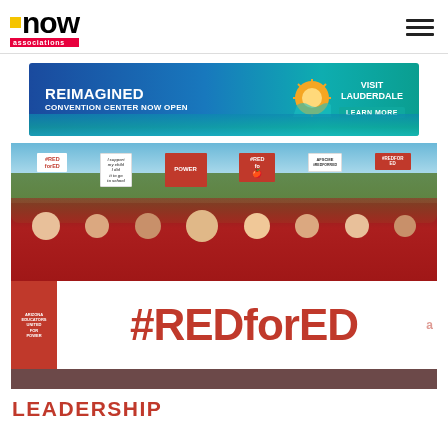associations now
[Figure (photo): Advertisement banner: REIMAGINED CONVENTION CENTER NOW OPEN — VISIT LAUDERDALE — LEARN MORE]
[Figure (photo): Crowd of teachers and supporters marching in the #REDforED education protest, holding signs and a large white banner reading #REDforED]
LEADERSHIP